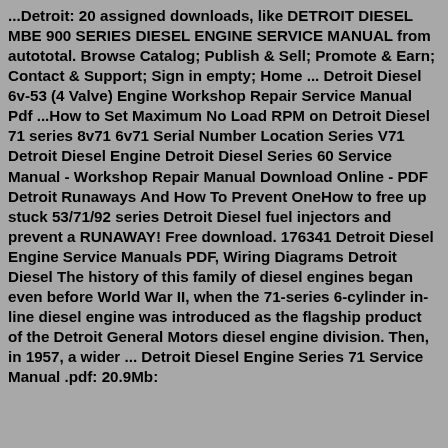...Detroit: 20 assigned downloads, like DETROIT DIESEL MBE 900 SERIES DIESEL ENGINE SERVICE MANUAL from autototal. Browse Catalog; Publish & Sell; Promote & Earn; Contact & Support; Sign in empty; Home ... Detroit Diesel 6v-53 (4 Valve) Engine Workshop Repair Service Manual Pdf ...How to Set Maximum No Load RPM on Detroit Diesel 71 series 8v71 6v71 Serial Number Location Series V71 Detroit Diesel Engine Detroit Diesel Series 60 Service Manual - Workshop Repair Manual Download Online - PDF Detroit Runaways And How To Prevent OneHow to free up stuck 53/71/92 series Detroit Diesel fuel injectors and prevent a RUNAWAY! Free download. 176341 Detroit Diesel Engine Service Manuals PDF, Wiring Diagrams Detroit Diesel The history of this family of diesel engines began even before World War II, when the 71-series 6-cylinder in-line diesel engine was introduced as the flagship product of the Detroit General Motors diesel engine division. Then, in 1957, a wider ... Detroit Diesel Engine Series 71 Service Manual .pdf: 20.9Mb: